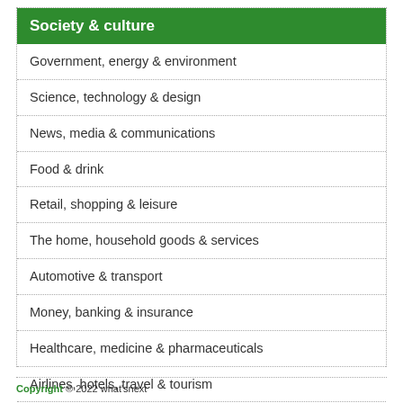Society & culture
Government, energy & environment
Science, technology & design
News, media & communications
Food & drink
Retail, shopping & leisure
The home, household goods & services
Automotive & transport
Money, banking & insurance
Healthcare, medicine & pharmaceuticals
Airlines, hotels, travel & tourism
Work, business & professional services
Copyright © 2022 what'snext